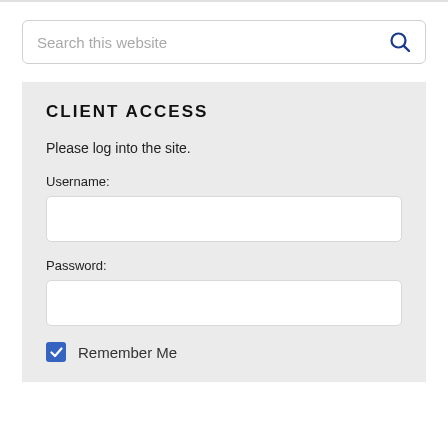Search this website
CLIENT ACCESS
Please log into the site.
Username:
Password:
Remember Me